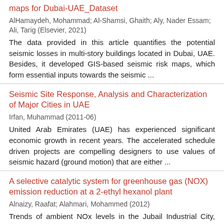maps for Dubai-UAE_Dataset
AlHamaydeh, Mohammad; Al-Shamsi, Ghaith; Aly, Nader Essam; Ali, Tarig (Elsevier, 2021)
The data provided in this article quantifies the potential seismic losses in multi-story buildings located in Dubai, UAE. Besides, it developed GIS-based seismic risk maps, which form essential inputs towards the seismic ...
Seismic Site Response, Analysis and Characterization of Major Cities in UAE
Irfan, Muhammad (2011-06)
United Arab Emirates (UAE) has experienced significant economic growth in recent years. The accelerated schedule driven projects are compelling designers to use values of seismic hazard (ground motion) that are either ...
A selective catalytic system for greenhouse gas (NOX) emission reduction at a 2-ethyl hexanol plant
Alnaizy, Raafat; Alahmari, Mohammed (2012)
Trends of ambient NOx levels in the Jubail Industrial City, Saudi Arabia, are increasing, and the regulators have identified areas requiring substantial reductions to control the atmospheric NOx concentrations. In this...